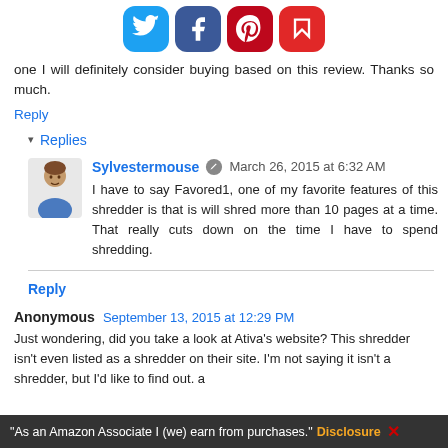[Figure (infographic): Social media sharing icons: Twitter (blue), Facebook (dark blue), Pinterest (red), Flipboard (red)]
one I will definitely consider buying based on this review. Thanks so much.
Reply
▾ Replies
Sylvestermouse  March 26, 2015 at 6:32 AM
I have to say Favored1, one of my favorite features of this shredder is that is will shred more than 10 pages at a time. That really cuts down on the time I have to spend shredding.
Reply
Anonymous  September 13, 2015 at 12:29 PM
Just wondering, did you take a look at Ativa's website? This shredder isn't even listed as a shredder on their site. I'm not saying it isn't a shredder, but I'd like to find out.
"As an Amazon Associate I (we) earn from purchases." Disclosure ✕